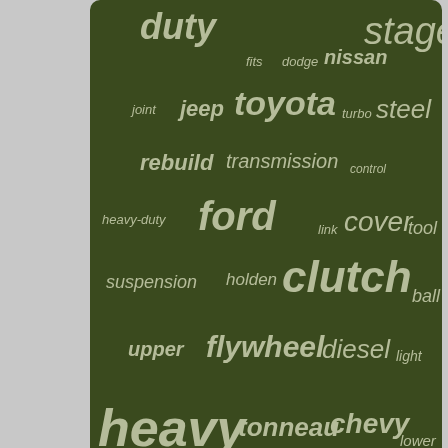[Figure (infographic): Word cloud on dark olive/green background with automotive terms in varying sizes: duty, fits, dodge, nissan, stage, joint, jeep, toyota, turbo, steel, rebuild, transmission, control, heavy-duty, ford, link, cover, tool, suspension, holden, clutch, ball, upper, flywheel, diesel, light, heavy, tonneau, chevy, lower, rear]
Home
Contact Form
Privacy Policies
Terms of service